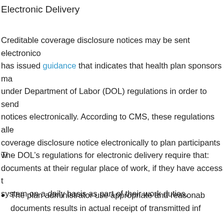Electronic Delivery
Creditable coverage disclosure notices may be sent electroni... has issued guidance that indicates that health plan sponsors ma... under Department of Labor (DOL) regulations in order to send notices electronically. According to CMS, these regulations alle... coverage disclosure notice electronically to plan participants w... documents at their regular place of work, if they have access t... system on a daily basis as part of their work duties.
The DOL’s regulations for electronic delivery require that:
The plan administrator use appropriate and reasonab... documents results in actual receipt of transmitted inf...